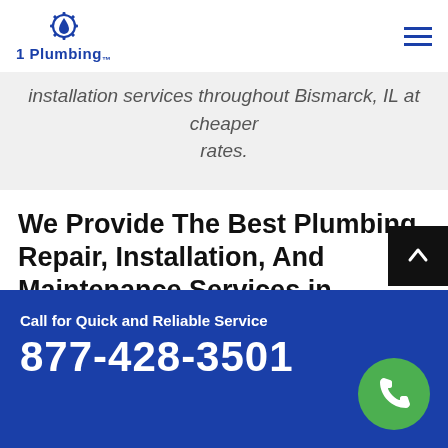[Figure (logo): 1 Plumbing logo with water drop and gear icon in blue]
installation services throughout Bismarck, IL at cheaper rates.
We Provide The Best Plumbing Repair, Installation, And Maintenance Services in Bismarck, IL. 1-Plumbing Offers Tankless Water Heaters, Plumbing Inspection, Gas Line Repair Services Affordable Prices.
Call for Quick and Reliable Service
877-428-3501